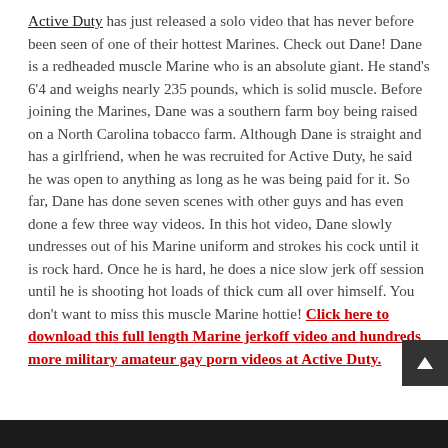Active Duty has just released a solo video that has never before been seen of one of their hottest Marines. Check out Dane! Dane is a redheaded muscle Marine who is an absolute giant. He stand's 6'4 and weighs nearly 235 pounds, which is solid muscle. Before joining the Marines, Dane was a southern farm boy being raised on a North Carolina tobacco farm. Although Dane is straight and has a girlfriend, when he was recruited for Active Duty, he said he was open to anything as long as he was being paid for it. So far, Dane has done seven scenes with other guys and has even done a few three way videos. In this hot video, Dane slowly undresses out of his Marine uniform and strokes his cock until it is rock hard. Once he is hard, he does a nice slow jerk off session until he is shooting hot loads of thick cum all over himself. You don't want to miss this muscle Marine hottie! Click here to download this full length Marine jerkoff video and hundreds more military amateur gay porn videos at Active Duty.
[Figure (photo): Dark image strip at bottom of page]